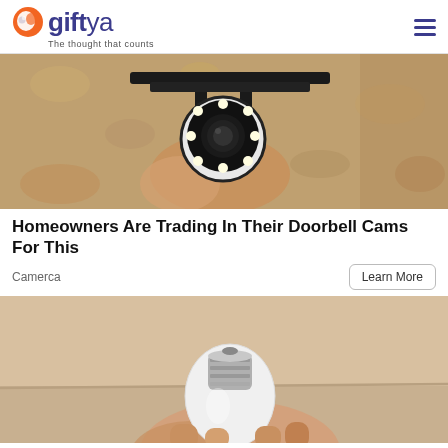giftya — The thought that counts
[Figure (photo): Close-up photo of a security camera being installed on a rough stone/stucco wall. The camera is white with a circular LED ring, mounted on a black metal bracket.]
Homeowners Are Trading In Their Doorbell Cams For This
Camerca
Learn More
[Figure (photo): Close-up photo of a white LED light bulb being held by a hand against a beige/tan wall background.]